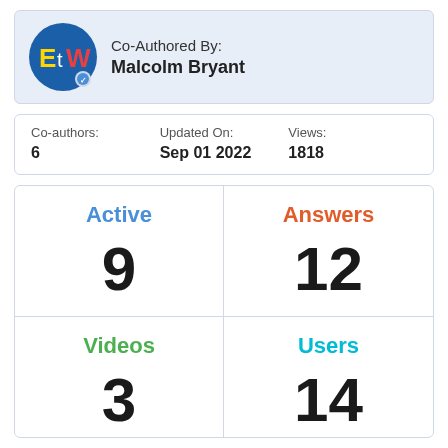[Figure (logo): EtW circular logo on blue background with 'Et' in gold/white and 'W' in red, with a verification badge]
Co-Authored By:
Malcolm Bryant
Co-authors: 6
Updated On: Sep 01 2022
Views: 1818
Active
9
Answers
12
Videos
3
Users
14